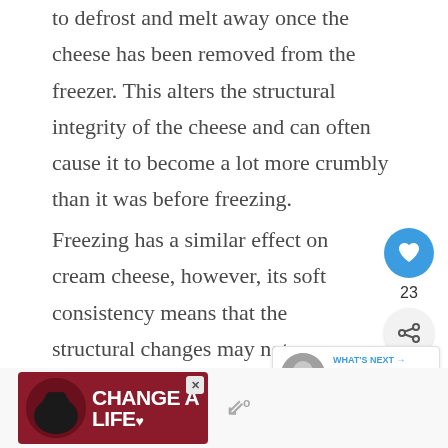water molecules inside the cheese to freeze, only to defrost and melt away once the cheese has been removed from the freezer. This alters the structural integrity of the cheese and can often cause it to become a lot more crumbly than it was before freezing.
Freezing has a similar effect on cream cheese, however, its soft consistency means that the structural changes may not seem as obvious because the cheese is not solid, to begin with
[Figure (other): Social interaction widget showing a blue heart/like button with count 23 and a share button]
[Figure (other): What's Next promotional box with thumbnail image and text 'Should I Freeze Half-...']
[Figure (other): Advertisement banner with dark red background showing a dog and text 'CHANGE A LIFE' with heart symbol]